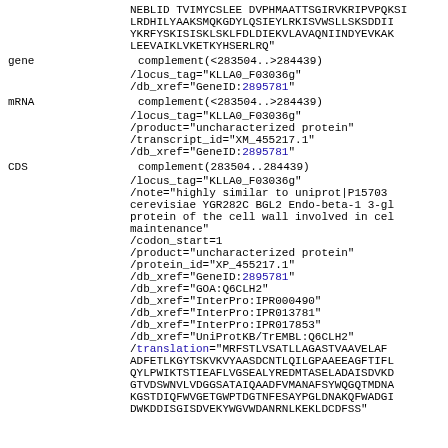NEBLID TVIMYCSLEE DVPHMAATTSGIRVKRIPVPQKSI
LRDHILYAAKSMQKGDYLQSIEYLRKISVWSLLSKSDDII
YKRFYSKISISKLSKLFDLDIEKVLAVAQNIINDYEVKAK
LEEVAIKLVKETKYHSERLRQ"
gene    complement(<283504..>284439)
/locus_tag="KLLA0_F03036g"
/db_xref="GeneID:2895781"
mRNA    complement(<283504..>284439)
/locus_tag="KLLA0_F03036g"
/product="uncharacterized protein"
/transcript_id="XM_455217.1"
/db_xref="GeneID:2895781"
CDS     complement(283504..284439)
/locus_tag="KLLA0_F03036g"
/note="highly similar to uniprot|P15703
cerevisiae YGR282C BGL2 Endo-beta-1 3-gl
protein of the cell wall involved in cel
maintenance"
/codon_start=1
/product="uncharacterized protein"
/protein_id="XP_455217.1"
/db_xref="GeneID:2895781"
/db_xref="GOA:Q6CLH2"
/db_xref="InterPro:IPR000490"
/db_xref="InterPro:IPR013781"
/db_xref="InterPro:IPR017853"
/db_xref="UniProtKB/TrEMBL:Q6CLH2"
/translation="MRFSTLVSATLLAGASTVAAGELAF
ADFETLKGYTSKVKVYAASDCNTLQILGPAAEEAGFTIFL
QYLPWIKTSTIEAFLVGSEALYREDMTASELADAISDVKD
GTVDSWNVLVDGGSATAIQAADFVMANAFSYWQGQTMDNA
KGSTDIQFWVGETGWPTDGTNFESAYPGLDNAKQFWADGI
DWKDDISGISDVEKYWGVWDANRNLKEKLDCDFSS"